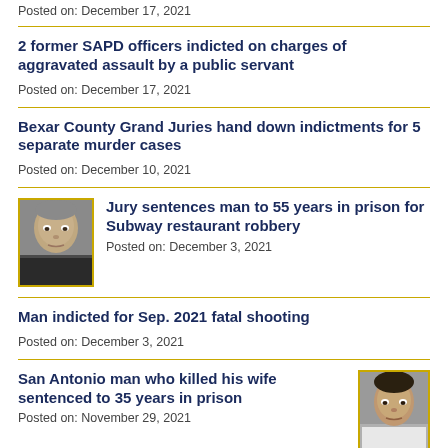Posted on: December 17, 2021
2 former SAPD officers indicted on charges of aggravated assault by a public servant
Posted on: December 17, 2021
Bexar County Grand Juries hand down indictments for 5 separate murder cases
Posted on: December 10, 2021
[Figure (photo): Mugshot of a bald man, light-skinned, looking forward, wearing dark clothing]
Jury sentences man to 55 years in prison for Subway restaurant robbery
Posted on: December 3, 2021
Man indicted for Sep. 2021 fatal shooting
Posted on: December 3, 2021
San Antonio man who killed his wife sentenced to 35 years in prison
Posted on: November 29, 2021
[Figure (photo): Mugshot of a man, medium skin tone, looking forward, wearing white clothing]